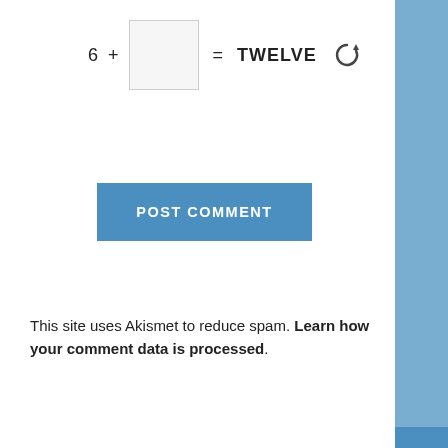[Figure (screenshot): POST COMMENT button - a blue rectangular button with white uppercase text]
This site uses Akismet to reduce spam. Learn how your comment data is processed.
[Figure (screenshot): Scroll up button - blue square with white upward arrow on the right edge]
BUY OR RENT MAN WITH A PRAM
[Figure (screenshot): Dark navy background section with a reCAPTCHA widget showing checkbox, I'm not a robot text, and reCAPTCHA logo with Privacy Te links]